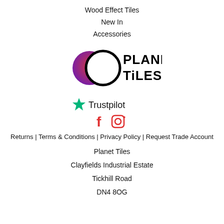Wood Effect Tiles
New In
Accessories
[Figure (logo): Planet Tiles logo: two overlapping circles (purple/red gradient and black outline) with text PLANET TILES in bold black]
[Figure (logo): Trustpilot green star logo with text 'Trustpilot']
[Figure (logo): Facebook and Instagram social media icons]
Returns | Terms & Conditions | Privacy Policy | Request Trade Account
Planet Tiles
Clayfields Industrial Estate
Tickhill Road
DN4 8OG